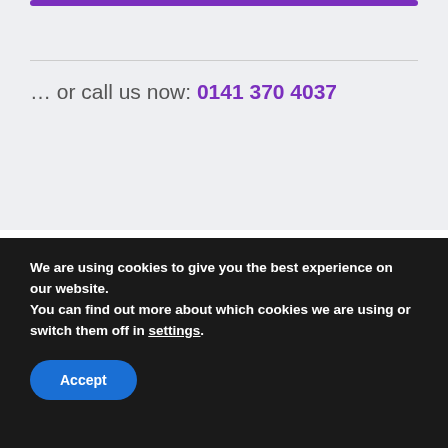… or call us now: 0141 370 4037
We are using cookies to give you the best experience on our website.
You can find out more about which cookies we are using or switch them off in settings.
Accept